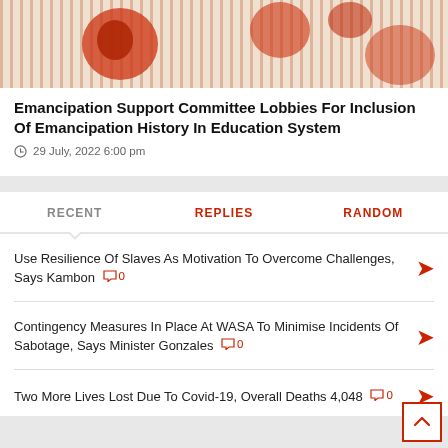[Figure (photo): Partial photo of a person wearing a red floral patterned shirt, cropped at top]
Emancipation Support Committee Lobbies For Inclusion Of Emancipation History In Education System
29 July, 2022 6:00 pm
RECENT | REPLIES | RANDOM
Use Resilience Of Slaves As Motivation To Overcome Challenges, Says Kambon 0
Contingency Measures In Place At WASA To Minimise Incidents Of Sabotage, Says Minister Gonzales 0
Two More Lives Lost Due To Covid-19, Overall Deaths 4,048 0